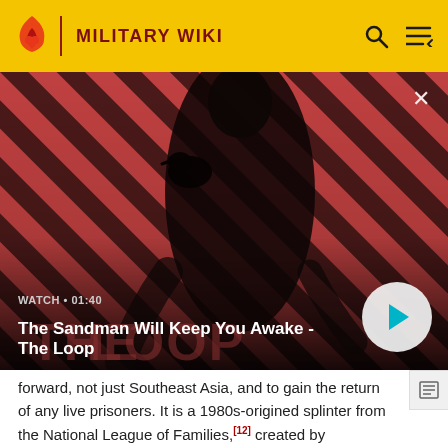MILITARY WIKI
[Figure (screenshot): Video thumbnail showing a dark-cloaked figure with a raven on their shoulder against a red and black diagonal striped background. Text overlay: WATCH • 01:40, The Sandman Will Keep You Awake - The Loop]
forward, not just Southeast Asia, and to gain the return of any live prisoners. It is a 1980s-origined splinter from the National League of Families,[12] created by members who were dissatisfied with Ann Mills Griffiths' leadership.[12]
Compared to the older group, the National Alliance took a more activist, radical stance, especially towards belief in